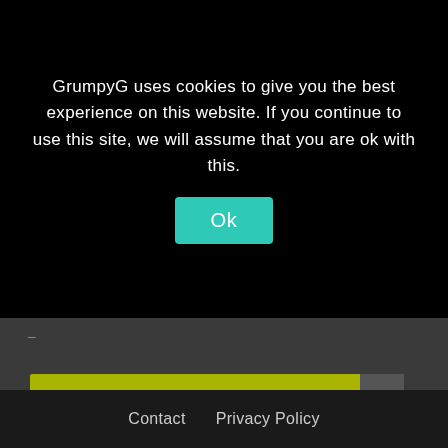GrumpyG uses cookies to give you the best experience on this website. If you continue to use this site, we will assume that you are ok with this.
Ok
[Figure (screenshot): Yellow/lime colored horizontal bar with a dark up-arrow button on the right side]
Contact   Privacy Policy